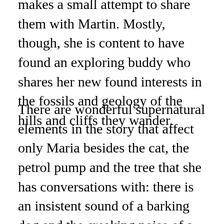makes a small attempt to share them with Martin. Mostly, though, she is content to have found an exploring buddy who shares her new found interests in the fossils and geology of the hills and cliffs they wander.
There are wonderful supernatural elements in the story that affect only Maria besides the cat, the petrol pump and the tree that she has conversations with: there is an insistent sound of a barking dog and the creaking noise of a swing in motion. Maria scours the neighborhood for physical evidence of these to no avail and as this part of the story unfolds they play an important part in the mystery of Harriet.